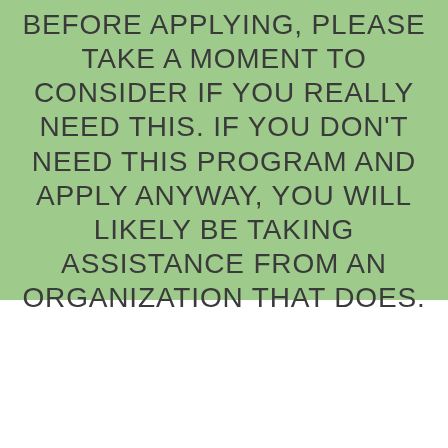BEFORE APPLYING, PLEASE TAKE A MOMENT TO CONSIDER IF YOU REALLY NEED THIS. IF YOU DON'T NEED THIS PROGRAM AND APPLY ANYWAY, YOU WILL LIKELY BE TAKING ASSISTANCE FROM AN ORGANIZATION THAT DOES.